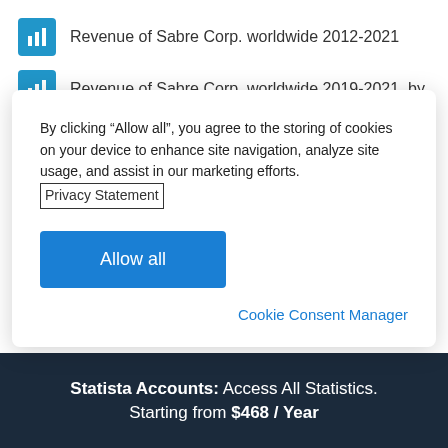Revenue of Sabre Corp. worldwide 2012-2021
Revenue of Sabre Corp. worldwide 2019-2021, by
By clicking “Allow all”, you agree to the storing of cookies on your device to enhance site navigation, analyze site usage, and assist in our marketing efforts. Privacy Statement
Allow all
Cookie Consent Manager
Further related statistics
Statista Accounts: Access All Statistics. Starting from $468 / Year